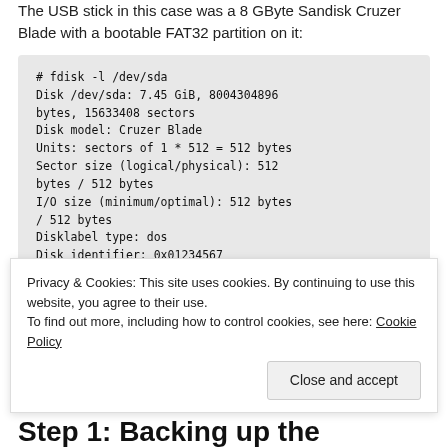The USB stick in this case was a 8 GByte Sandisk Cruzer Blade with a bootable FAT32 partition on it:
# fdisk -l /dev/sda
Disk /dev/sda: 7.45 GiB, 8004304896 bytes, 15633408 sectors
Disk model: Cruzer Blade
Units: sectors of 1 * 512 = 512 bytes
Sector size (logical/physical): 512 bytes / 512 bytes
I/O size (minimum/optimal): 512 bytes / 512 bytes
Disklabel type: dos
Disk identifier: 0x01234567

Device       Boot  Start         End
Sectors  Size Id Type
Privacy & Cookies: This site uses cookies. By continuing to use this website, you agree to their use.
To find out more, including how to control cookies, see here: Cookie Policy
Step 1: Backing up the